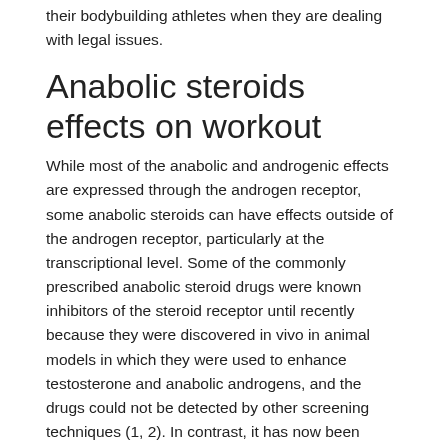their bodybuilding athletes when they are dealing with legal issues.
Anabolic steroids effects on workout
While most of the anabolic and androgenic effects are expressed through the androgen receptor, some anabolic steroids can have effects outside of the androgen receptor, particularly at the transcriptional level. Some of the commonly prescribed anabolic steroid drugs were known inhibitors of the steroid receptor until recently because they were discovered in vivo in animal models in which they were used to enhance testosterone and anabolic androgens, and the drugs could not be detected by other screening techniques (1, 2). In contrast, it has now been shown that almost any anabolic steroid can trigger or activate transcription through a variety of transcriptional/translational pathways,